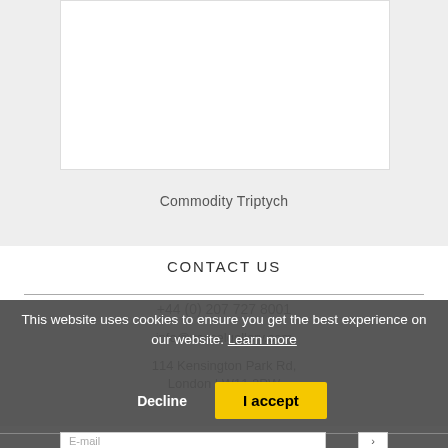[Figure (photo): White rectangular image box (artwork placeholder)]
Commodity Triptych
CONTACT US
+44 (0) 207 727 8001
info@vesselgallery.com
114 Kensington Park Rd,
London | W11 2PW
This website uses cookies to ensure you get the best experience on our website. Learn more
Decline
I accept
E-mail